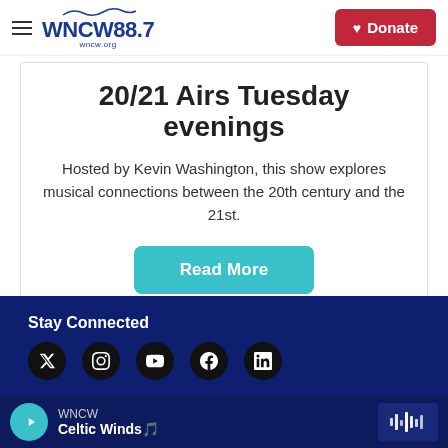WNCW 88.7 — wncw.org | Donate
20/21 Airs Tuesday evenings
Hosted by Kevin Washington, this show explores musical connections between the 20th century and the 21st.
Read More
Stay Connected
WNCW | Celtic Winds